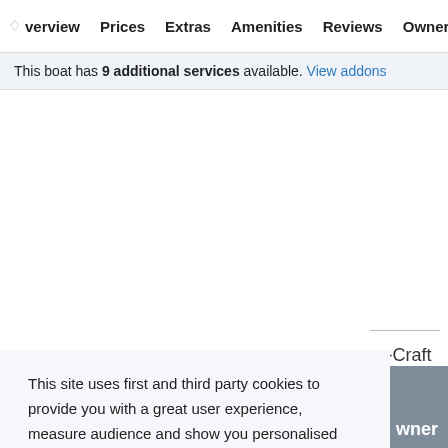◇verview  Prices  Extras  Amenities  Reviews  Owner  Lo◇
This boat has 9 additional services available. View addons
This site uses first and third party cookies to provide you with a great user experience, measure audience and show you personalised ads. By using Sailo you accept our use of cookies. For more details about our privacy policy, cookies and how to manage them, see our Privacy and Cookies policy.
Learn more
Got it!